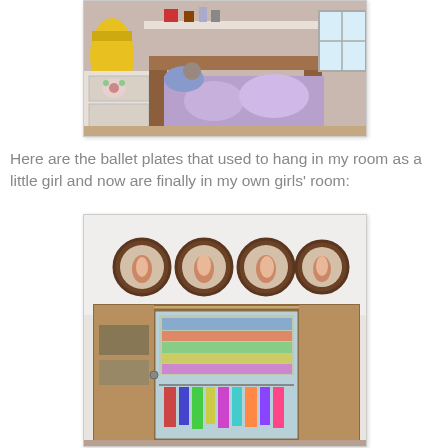[Figure (photo): A girl's bedroom with a wooden bed frame, colorful floral bedding, a dresser with floral decoration, a yellow dress hanging on the left, and a shelf above the bed with various items. A window is visible on the right.]
Here are the ballet plates that used to hang in my room as a little girl and now are finally in my own girls' room:
[Figure (photo): Four round ballet-themed decorative plates hanging on a white wall above a wooden wardrobe/closet with a mirror door. Inside the closet, colorful clothes are stacked and hanging items are visible below.]